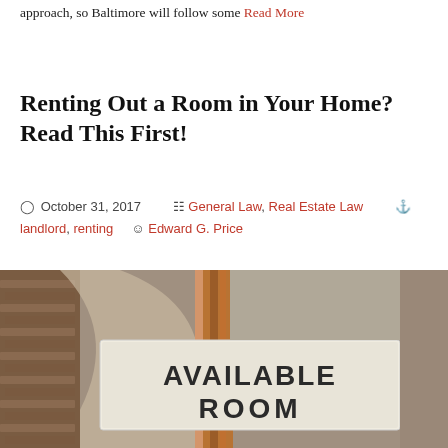approach, so Baltimore will follow some Read More
Renting Out a Room in Your Home? Read This First!
October 31, 2017   General Law, Real Estate Law   landlord, renting   Edward G. Price
[Figure (photo): Photo of an 'AVAILABLE ROOM' sign on a pole outside a building]